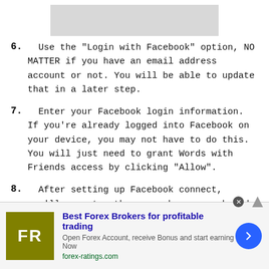[Figure (other): Gray placeholder image at top of page]
6. Use the "Login with Facebook" option, NO MATTER if you have an email address account or not. You will be able to update that in a later step.
7. Enter your Facebook login information. If you're already logged into Facebook on your device, you may not have to do this. You will just need to grant Words with Friends access by clicking "Allow".
8. After setting up Facebook connect, you'll re-enter the app, where you should be asked if you already have a Words with Friends (or Zynga with Friends) account already. If you have an account, then enter your email address and password. If it doesn't ask you, go to "Settings" and try updating your email address and
[Figure (infographic): Advertisement banner: Best Forex Brokers for profitable trading. FR logo in olive/khaki square, blue arrow button, forex-ratings.com]